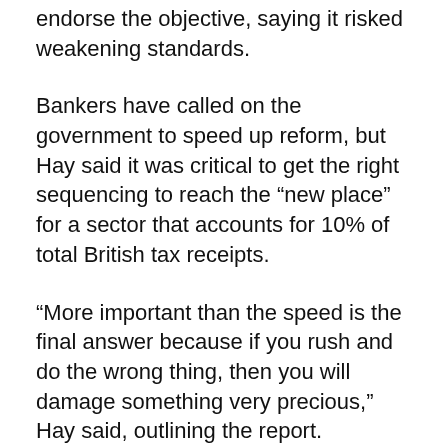endorse the objective, saying it risked weakening standards.
Bankers have called on the government to speed up reform, but Hay said it was critical to get the right sequencing to reach the “new place” for a sector that accounts for 10% of total British tax receipts.
“More important than the speed is the final answer because if you rush and do the wrong thing, then you will damage something very precious,” Hay said, outlining the report.
British relations with the EU are strained, with UK clearing house access to the bloc set to end in three years to cut heavy reliance on London, although the EU on Wednesday granted access https://ec.europa.eu/info/law/derivatives-emir-